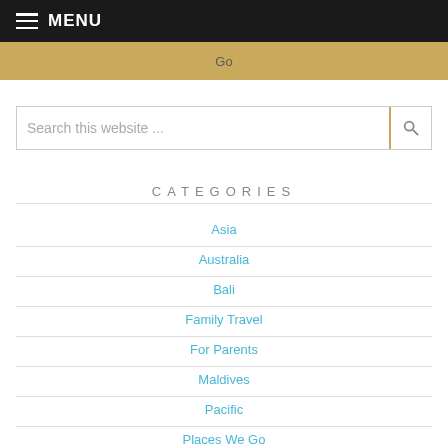MENU
Go
Search this website ...
CATEGORIES
Asia
Australia
Bali
Family Travel
For Parents
Maldives
Pacific
Places We Go